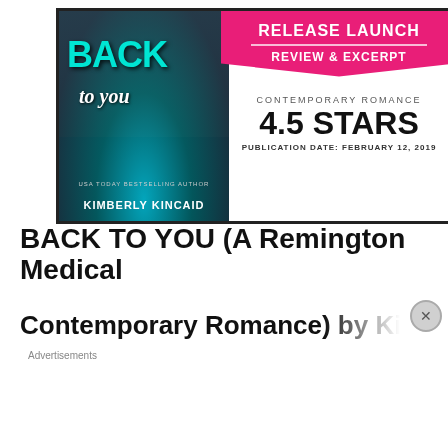[Figure (illustration): Book release launch banner with book cover of 'Back to You' by Kimberly Kincaid (USA Today Bestselling Author) on the left, and on the right a pink ribbon with 'RELEASE LAUNCH / REVIEW & EXCERPT', genre 'Contemporary Romance', rating '4.5 Stars', publication date 'February 12, 2019']
BACK TO YOU (A Remington Medical
Contemporary Romance) by Kimberl…
Advertisements
[Figure (screenshot): DuckDuckGo advertisement banner with orange background. Text: 'Search, browse, and email with more privacy. All in One Free App' with a phone showing DuckDuckGo logo.]